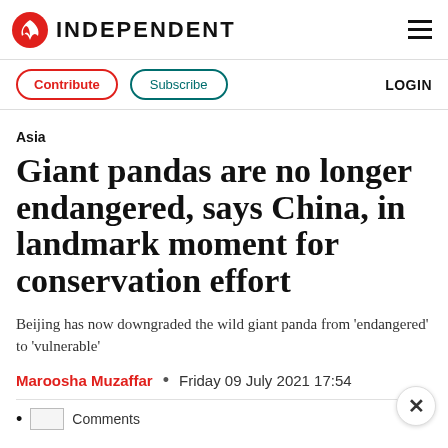INDEPENDENT
Contribute  Subscribe  LOGIN
Asia
Giant pandas are no longer endangered, says China, in landmark moment for conservation effort
Beijing has now downgraded the wild giant panda from 'endangered' to 'vulnerable'
Maroosha Muzaffar • Friday 09 July 2021 17:54
• Comments